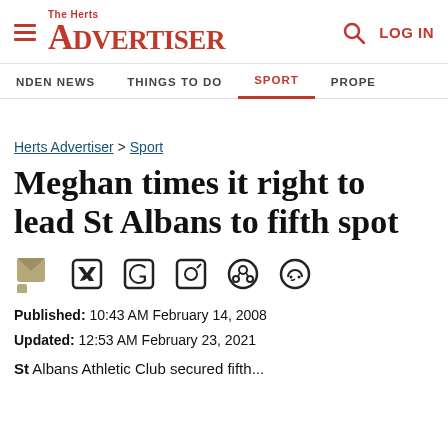The Herts Advertiser — LOG IN
NDEN NEWS  THINGS TO DO  SPORT  PROPE
Herts Advertiser > Sport
Meghan times it right to lead St Albans to fifth spot
Published: 10:43 AM February 14, 2008
Updated: 12:53 AM February 23, 2021
St Albans Athletic Club secured fifth...